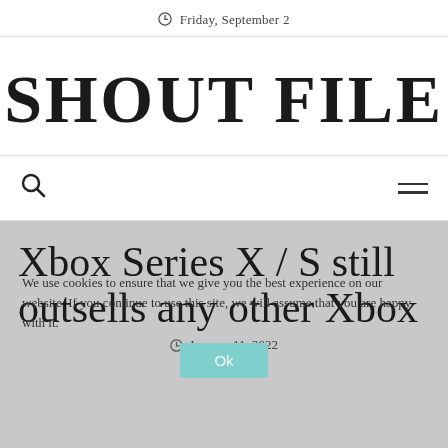Friday, September 2
SHOUT FILE
[Figure (screenshot): Navigation bar with search icon (magnifying glass) on the left and hamburger menu icon on the right]
Xbox Series X / S still outsells any other Xbox
January 11, 2022
We use cookies to ensure that we give you the best experience on our website. If you continue to use this site, we will assume that you are happy with it.
Ok